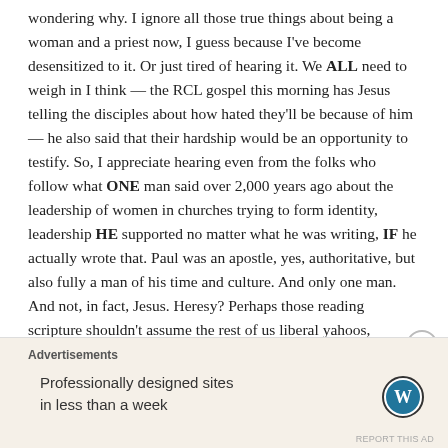wondering why. I ignore all those true things about being a woman and a priest now, I guess because I've become desensitized to it. Or just tired of hearing it. We ALL need to weigh in I think — the RCL gospel this morning has Jesus telling the disciples about how hated they'll be because of him — he also said that their hardship would be an opportunity to testify. So, I appreciate hearing even from the folks who follow what ONE man said over 2,000 years ago about the leadership of women in churches trying to form identity, leadership HE supported no matter what he was writing, IF he actually wrote that. Paul was an apostle, yes, authoritative, but also fully a man of his time and culture. And only one man. And not, in fact, Jesus. Heresy? Perhaps those reading scripture shouldn't assume the rest of us liberal yahoos, ordained or not,
Advertisements
Professionally designed sites in less than a week